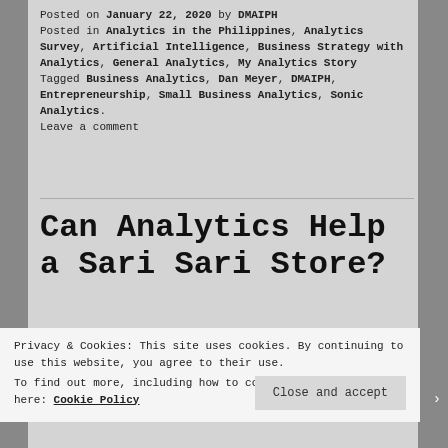Posted on January 22, 2020 by DMAIPH
Posted in Analytics in the Philippines, Analytics Survey, Artificial Intelligence, Business Strategy with Analytics, General Analytics, My Analytics Story
Tagged Business Analytics, Dan Meyer, DMAIPH, Entrepreneurship, Small Business Analytics, Sonic Analytics.
Leave a comment
Can Analytics Help a Sari Sari Store?
[Figure (photo): Partial image strip showing greenery on the left and a grey/white area on the right]
Privacy & Cookies: This site uses cookies. By continuing to use this website, you agree to their use.
To find out more, including how to control cookies, see here: Cookie Policy
Close and accept